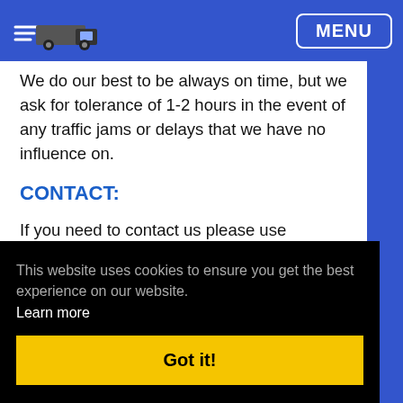MENU
We do our best to be always on time, but we ask for tolerance of 1-2 hours in the event of any traffic jams or delays that we have no influence on.
CONTACT:
If you need to contact us please use CONTACT FORM on our website or send an SMS enclosing your order number and inquiry on 07912604743 or
This website uses cookies to ensure you get the best experience on our website.
Learn more
Got it!